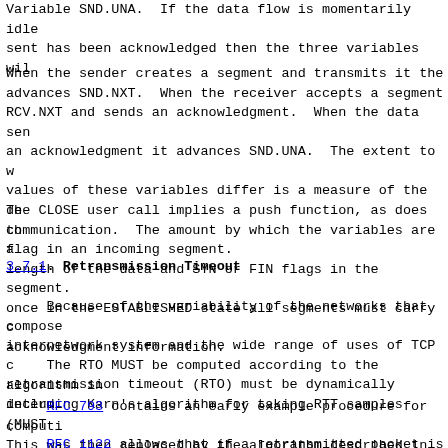Variable SND.UNA.  If the data flow is momentarily idle sent has been acknowledged then the three variables wil
When the sender creates a segment and transmits it the advances SND.NXT.  When the receiver accepts a segment RCV.NXT and sends an acknowledgment.  When the data sen an acknowledgment it advances SND.UNA.  The extent to w values of these variables differ is a measure of the de communication.  The amount by which the variables are a length of the data and SYN or FIN flags in the segment. once in the ESTABLISHED state all segments must carry c acknowledgment information.
The CLOSE user call implies a push function, as does th flag in an incoming segment.
3.7.1.  Retransmission Timeout
Because of the variability of the networks that compose internetwork system and the wide range of uses of TCP c retransmission timeout (RTO) must be dynamically determ
The RTO MUST be computed according to the algorithm in including Karn's algorithm for taking RTT samples (MUST
RFC 793 contains an early example procedure for computi This was then replaced by the algorithm described in RF subsequently updated in RFC 2988, and then again in RFC
RFC 1122 allows that if a retransmitted packet is ident